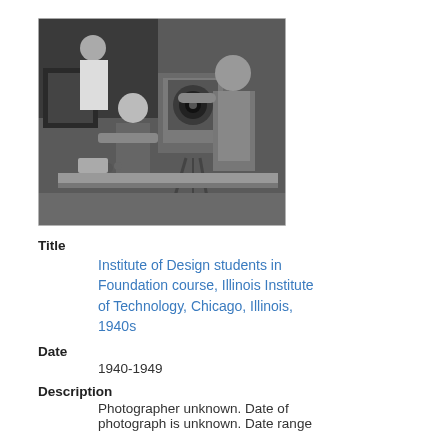[Figure (photo): Black and white photograph showing students at the Institute of Design in a Foundation course, with laboratory or workshop equipment visible. Three people are seen working with optical/photographic equipment at a table.]
Title
Institute of Design students in Foundation course, Illinois Institute of Technology, Chicago, Illinois, 1940s
Date
1940-1949
Description
Photographer unknown. Date of photograph is unknown. Date range